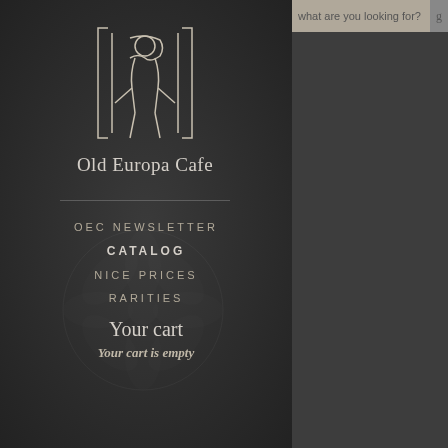[Figure (logo): Old Europa Cafe logo - stylized monogram with 'Europa' text beneath]
Old Europa Cafe
OEC NEWSLETTER
CATALOG
NICE PRICES
RARITIES
Your cart
Your cart is empty
what are you looking for?
[Figure (illustration): Line drawing of a flower/bird sketch - product image for O PARADIS]
CD  13.00€
O PARADIS [Ô Paradis]
Tierra Embrujada
[Figure (photo): Dark album cover for TAPHEPHOBIA with triangular play icon and bare winter trees]
CD  17.00€
TAPHEPHOBIA